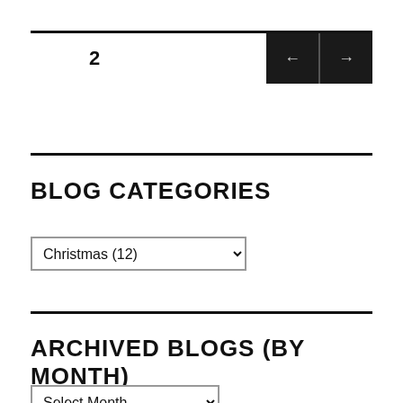2
BLOG CATEGORIES
Christmas (12)
ARCHIVED BLOGS (BY MONTH)
Select Month